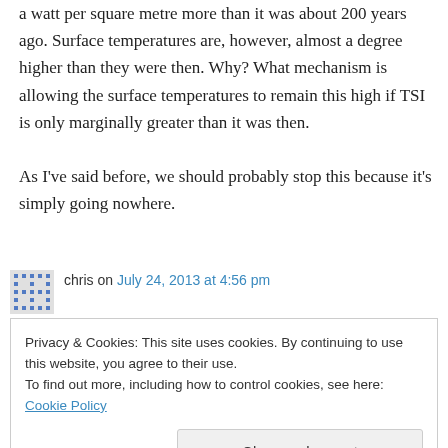a watt per square metre more than it was about 200 years ago. Surface temperatures are, however, almost a degree higher than they were then. Why? What mechanism is allowing the surface temperatures to remain this high if TSI is only marginally greater than it was then.

As I've said before, we should probably stop this because it's simply going nowhere.
chris on July 24, 2013 at 4:56 pm
Privacy & Cookies: This site uses cookies. By continuing to use this website, you agree to their use.
To find out more, including how to control cookies, see here: Cookie Policy